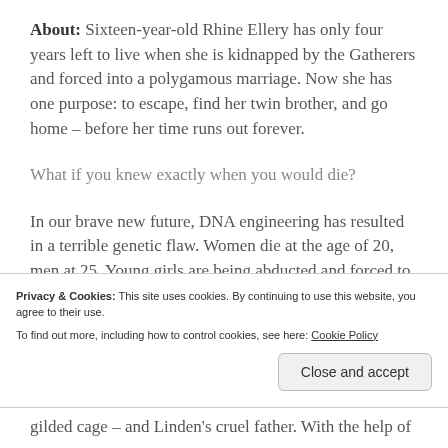About: Sixteen-year-old Rhine Ellery has only four years left to live when she is kidnapped by the Gatherers and forced into a polygamous marriage. Now she has one purpose: to escape, find her twin brother, and go home – before her time runs out forever.
What if you knew exactly when you would die?
In our brave new future, DNA engineering has resulted in a terrible genetic flaw. Women die at the age of 20, men at 25. Young girls are being abducted and forced to breed in a desperate attempt to keep humanity ahead of the disease that threatens to eradicate it.
Privacy & Cookies: This site uses cookies. By continuing to use this website, you agree to their use.
To find out more, including how to control cookies, see here: Cookie Policy
gilded cage – and Linden's cruel father. With the help of